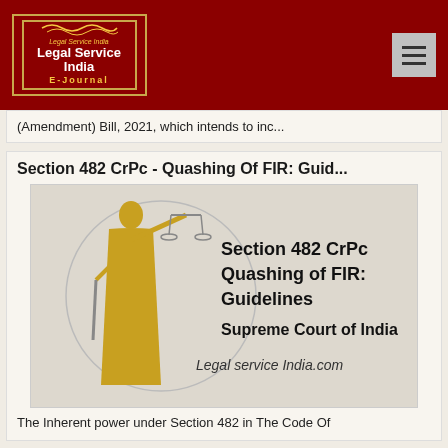Legal Service India E-Journal
(Amendment) Bill, 2021, which intends to inc...
Section 482 CrPc - Quashing Of FIR: Guid...
[Figure (illustration): Article thumbnail image showing Lady Justice figure alongside text: 'Section 482 CrPc Quashing of FIR: Guidelines Supreme Court of India Legal service India.com']
The Inherent power under Section 482 in The Code Of